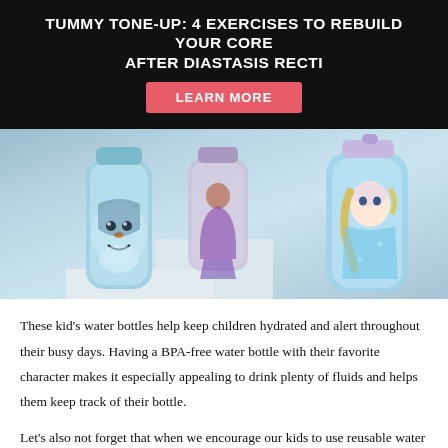TUMMY TONE-UP: 4 EXERCISES TO REBUILD YOUR CORE AFTER DIASTASIS RECTI
LEARN MORE
[Figure (photo): Three Frozen-themed kids water bottles on white display stands — one with Olaf, one with Anna/Elsa silhouette, and one with Elsa character art, in blue/teal colors]
These kid's water bottles help keep children hydrated and alert throughout their busy days. Having a BPA-free water bottle with their favorite character makes it especially appealing to drink plenty of fluids and helps them keep track of their bottle.
Let's also not forget that when we encourage our kids to use reusable water bottles, we're also helping them to develop